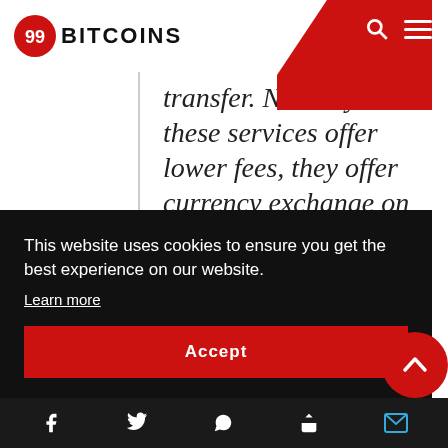99BITCOINS
transfer. Not only do these services offer lower fees, they offer currency exchange on their platform. Bitcoin is itself a currency, and
This website uses cookies to ensure you get the best experience on our website.
Learn more
Accept
Social share bar